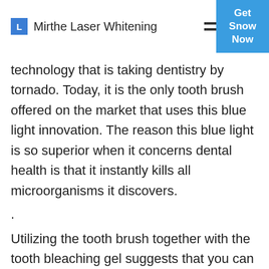Mirthe Laser Whitening
technology that is taking dentistry by tornado. Today, it is the only tooth brush offered on the market that uses this blue light innovation. The reason this blue light is so superior when it concerns dental health is that it instantly kills all microorganisms it discovers.
.
Utilizing the tooth brush together with the tooth bleaching gel suggests that you can see outcomes to your teeth in a actually short